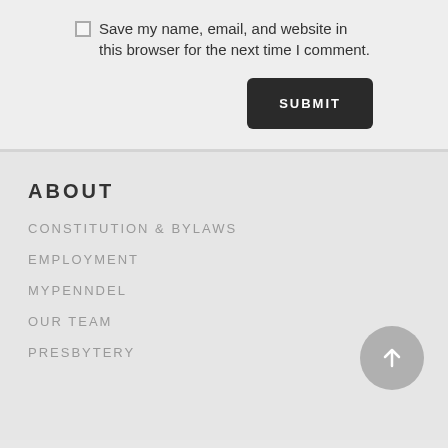Save my name, email, and website in this browser for the next time I comment.
SUBMIT
ABOUT
CONSTITUTION & BYLAWS
EMPLOYMENT
MYPENNDEL
OUR TEAM
PRESBYTERY